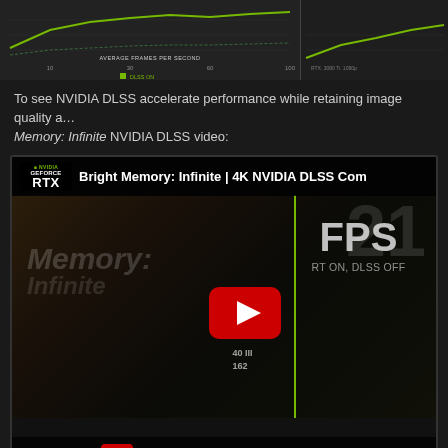[Figure (screenshot): Partial view of performance chart showing DLSS ON line graph with green lines and axis labels including 'AVERAGE FRAMES PER SECOND' and 'DLSS ON' legend]
To see NVIDIA DLSS accelerate performance while retaining image quality and more, watch the Bright Memory: Infinite NVIDIA DLSS video:
[Figure (screenshot): YouTube video embed showing 'Bright Memory: Infinite | 4K NVIDIA DLSS Comparison' video thumbnail with NVIDIA GeForce RTX logo, FPS overlay showing '21 FPS, RT ON, DLSS OFF', green vertical divider line, YouTube play button, and 'Watch on YouTube' bar at bottom]